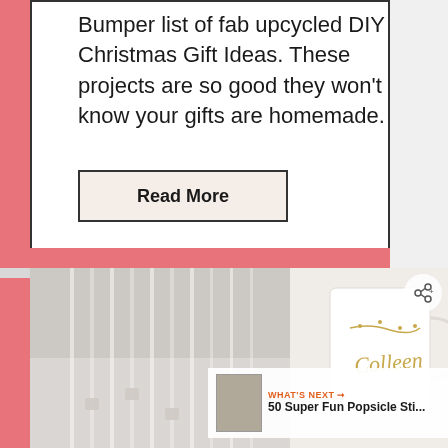Bumper list of fab upcycled DIY Christmas Gift Ideas. These projects are so good they won't know your gifts are homemade.
Read More
[Figure (photo): Photo of glass items (vases or similar glassware) on the left, and a white mug with the name 'Colleen' written in gold script on the right. A 'What's Next' overlay box is visible in the bottom right of the photo showing '50 Super Fun Popsicle Sti...']